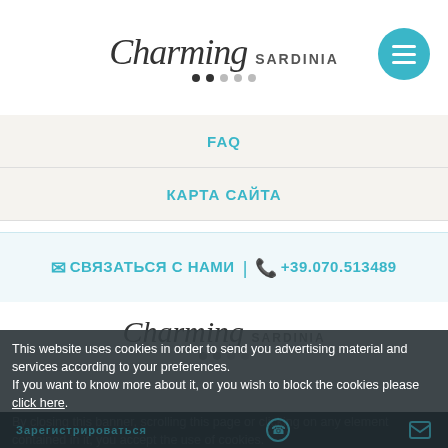[Figure (logo): Charming Sardinia logo with script 'Charming' and sans-serif 'SARDINIA', dot navigation indicators, and teal hamburger menu button]
FAQ
КАРТА САЙТА
✉ СВЯЗАТЬСЯ С НАМИ | ☎ +39.070.513489
[Figure (logo): Charming Sardinia logo (footer version) with dot indicators]
This website uses cookies in order to send you advertising material and services according to your preferences.
If you want to know more about it, or you wish to block the cookies please click here.
By closing this banner, scrolling this page or clicking on any element contained in it, you accept the use of cookies.
OK
MORE INFO